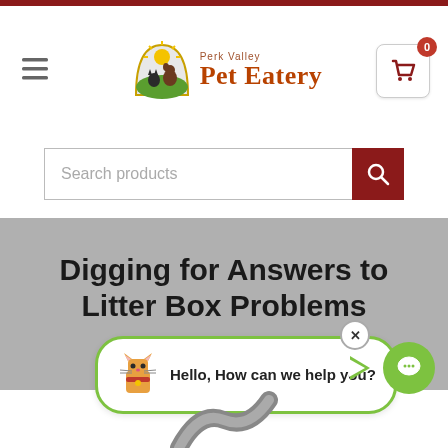[Figure (screenshot): Website header for Perk Valley Pet Eatery with hamburger menu, logo (sun/arch with dog and cat silhouette), site name, and shopping cart icon with badge showing 0]
[Figure (screenshot): Search bar with placeholder text 'Search products' and dark red search button with magnifying glass icon]
Digging for Answers to Litter Box Problems
February 13, 2019
[Figure (screenshot): Chat widget bubble with cat emoji and text 'Hello, How can we help you?' with green border, close X button, and green chat icon circle to the right]